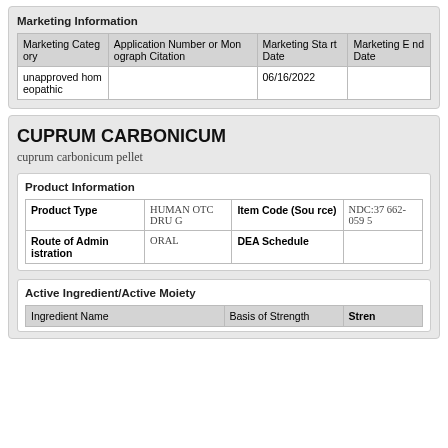| Marketing Category | Application Number or Monograph Citation | Marketing Start Date | Marketing End Date |
| --- | --- | --- | --- |
| unapproved homeopathic |  | 06/16/2022 |  |
CUPRUM CARBONICUM
cuprum carbonicum pellet
| Product Type | HUMAN OTC DRUG | Item Code (Source) | NDC:37662-0595 |
| --- | --- | --- | --- |
| Route of Administration | ORAL | DEA Schedule |  |
| Ingredient Name | Basis of Strength | Stren |
| --- | --- | --- |